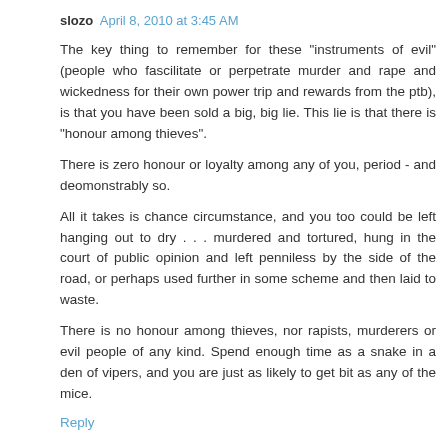slozo  April 8, 2010 at 3:45 AM
The key thing to remember for these "instruments of evil" (people who fascilitate or perpetrate murder and rape and wickedness for their own power trip and rewards from the ptb), is that you have been sold a big, big lie. This lie is that there is "honour among thieves".
There is zero honour or loyalty among any of you, period - and deomonstrably so.
All it takes is chance circumstance, and you too could be left hanging out to dry . . . murdered and tortured, hung in the court of public opinion and left penniless by the side of the road, or perhaps used further in some scheme and then laid to waste.
There is no honour among thieves, nor rapists, murderers or evil people of any kind. Spend enough time as a snake in a den of vipers, and you are just as likely to get bit as any of the mice.
Reply